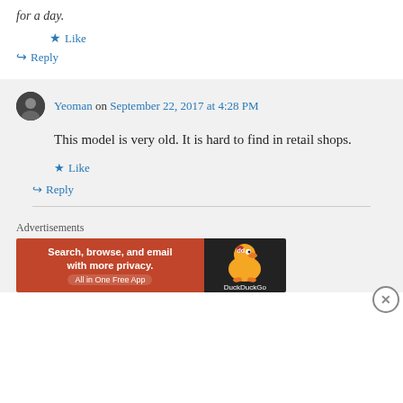for a day.
★ Like
↪ Reply
Yeoman on September 22, 2017 at 4:28 PM
This model is very old. It is hard to find in retail shops.
★ Like
↪ Reply
Advertisements
[Figure (infographic): DuckDuckGo advertisement banner: orange background with text 'Search, browse, and email with more privacy. All in One Free App' and DuckDuckGo duck logo on dark background.]